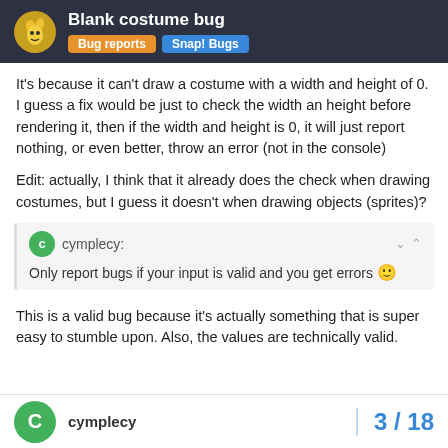Blank costume bug | Bug reports | Snap! Bugs
It's because it can't draw a costume with a width and height of 0. I guess a fix would be just to check the width an height before rendering it, then if the width and height is 0, it will just report nothing, or even better, throw an error (not in the console)
Edit: actually, I think that it already does the check when drawing costumes, but I guess it doesn't when drawing objects (sprites)?
cymplecy: Only report bugs if your input is valid and you get errors 🙂
This is a valid bug because it's actually something that is super easy to stumble upon. Also, the values are technically valid.
cymplecy 3 / 18